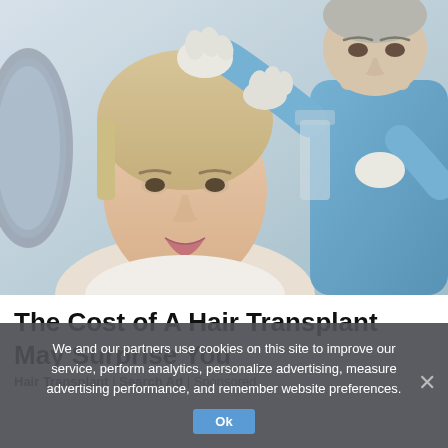[Figure (photo): A female patient smiling while a male doctor in blue scrubs wearing white latex gloves examines her scalp/hairline in a medical clinic setting. A circular mirror is visible on the left side.]
The Cost of A Hair Transplant May Surprise You
Hair Transplant | Search Ad | Sponsored
We and our partners use cookies on this site to improve our service, perform analytics, personalize advertising, measure advertising performance, and remember website preferences.